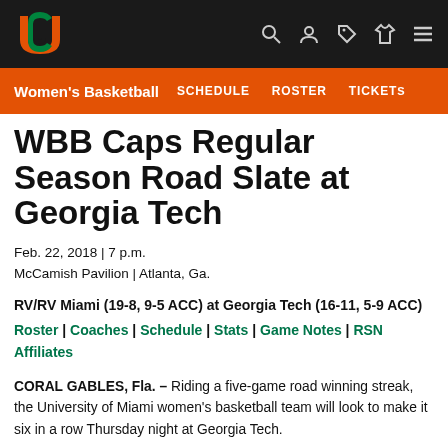[Figure (logo): University of Miami logo — orange U with green C inside on dark background]
Women's Basketball  SCHEDULE  ROSTER  TICKETS
WBB Caps Regular Season Road Slate at Georgia Tech
Feb. 22, 2018 | 7 p.m.
McCamish Pavilion | Atlanta, Ga.
RV/RV Miami (19-8, 9-5 ACC) at Georgia Tech (16-11, 5-9 ACC)
Roster | Coaches | Schedule | Stats | Game Notes | RSN Affiliates
CORAL GABLES, Fla. – Riding a five-game road winning streak, the University of Miami women's basketball team will look to make it six in a row Thursday night at Georgia Tech.